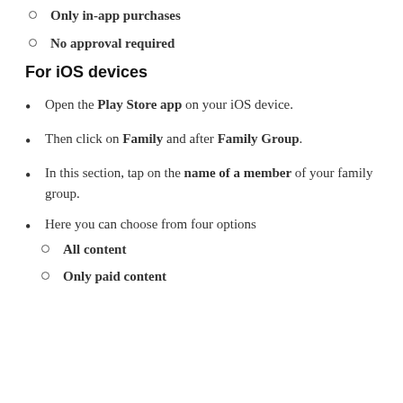Only in-app purchases
No approval required
For iOS devices
Open the Play Store app on your iOS device.
Then click on Family and after Family Group.
In this section, tap on the name of a member of your family group.
Here you can choose from four options
All content
Only paid content